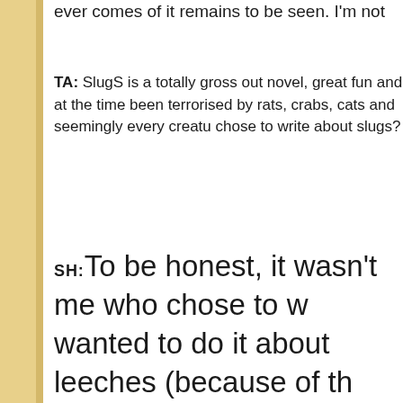ever comes of it remains to be seen. I'm not
TA: SlugS is a totally gross out novel, great fun and at the time been terrorised by rats, crabs, cats and seemingly every creature chose to write about slugs?
SH: To be honest, it wasn't me who chose to w wanted to do it about leeches (because of the too) and my agent of the time who'd read a m Deathday that featured a giant slug said why slugs. I couldn't see the mileage in it until I st happily, as usual he was proved right and I w novels were great fun to write and Slugs will my heart because it is the novel I'll always be could win the Booker Prize (well, not really, I what I mean) and I'd still be known at the bl